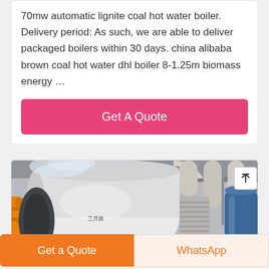70mw automatic lignite coal hot water boiler. Delivery period: As such, we are able to deliver packaged boilers within 30 days. china alibaba brown coal hot water dhl boiler 8-1.25m biomass energy …
Get A Quote
[Figure (photo): Industrial hot water boiler room with large cylindrical boiler, insulated pipes, orange gas pipes, and blue pressure tanks]
Get a Quote
WhatsApp